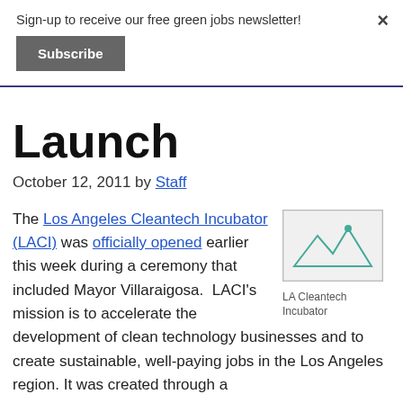Sign-up to receive our free green jobs newsletter!
Subscribe
Launch
October 12, 2011 by Staff
The Los Angeles Cleantech Incubator (LACI) was officially opened earlier this week during a ceremony that included Mayor Villaraigosa. LACI's mission is to accelerate the development of clean technology businesses and to create sustainable, well-paying jobs in the Los Angeles region. It was created through a
[Figure (photo): LA Cleantech Incubator logo/image placeholder]